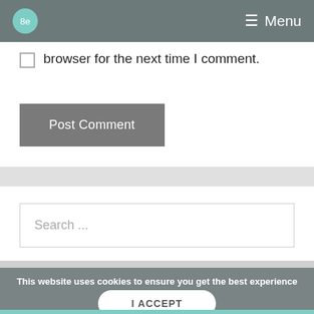Be  Menu
browser for the next time I comment.
Post Comment
Search ...
This website uses cookies to ensure you get the best experience on our website.
I ACCEPT